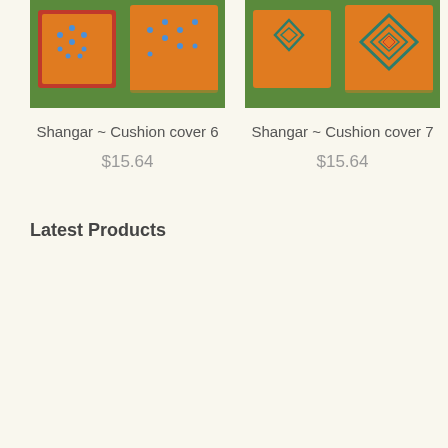[Figure (photo): Orange cushion covers on grass - Cushion cover 6, showing two orange cushions with blue dot embroidery pattern on green lawn background]
Shangar ~ Cushion cover 6
$15.64
[Figure (photo): Orange cushion covers on grass - Cushion cover 7, showing two orange cushions with diamond teal embroidery pattern on green lawn background]
Shangar ~ Cushion cover 7
$15.64
Latest Products